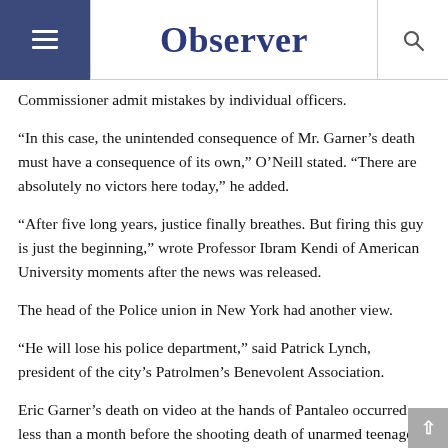Observer
Commissioner admit mistakes by individual officers.
“In this case, the unintended consequence of Mr. Garner’s death must have a consequence of its own,” O’Neill stated. “There are absolutely no victors here today,” he added.
“After five long years, justice finally breathes. But firing this guy is just the beginning,” wrote Professor Ibram Kendi of American University moments after the news was released.
The head of the Police union in New York had another view.
“He will lose his police department,” said Patrick Lynch, president of the city’s Patrolmen’s Benevolent Association.
Eric Garner’s death on video at the hands of Pantaleo occurred less than a month before the shooting death of unarmed teenager Michael Brown in Ferguson, Mo. by police Officer